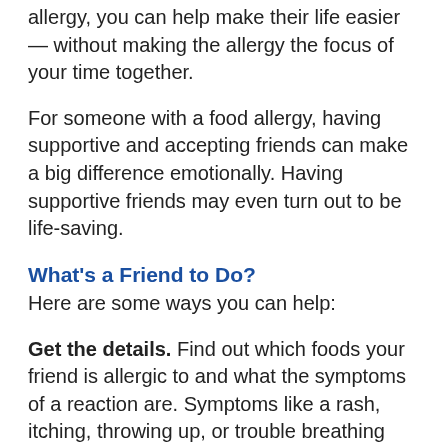allergy, you can help make their life easier — without making the allergy the focus of your time together.
For someone with a food allergy, having supportive and accepting friends can make a big difference emotionally. Having supportive friends may even turn out to be life-saving.
What's a Friend to Do?
Here are some ways you can help:
Get the details. Find out which foods your friend is allergic to and what the symptoms of a reaction are. Symptoms like a rash, itching, throwing up, or trouble breathing can happen right away or take a little while after eating to show up. Learn how your friend has reacted to a food in the past. Sometimes the same allergy can have different effects at different times. The